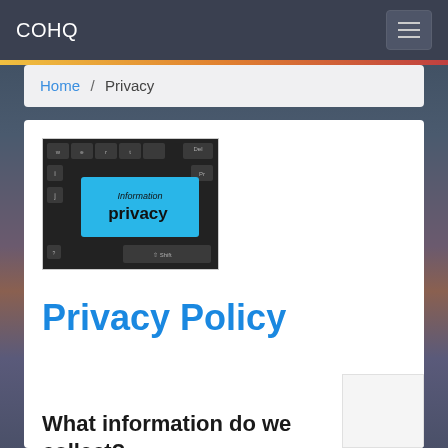COHQ
Home / Privacy
[Figure (photo): Keyboard with a cyan/blue key labeled 'Information privacy', with Shift key and other dark keys visible]
Privacy Policy
What information do we collect?